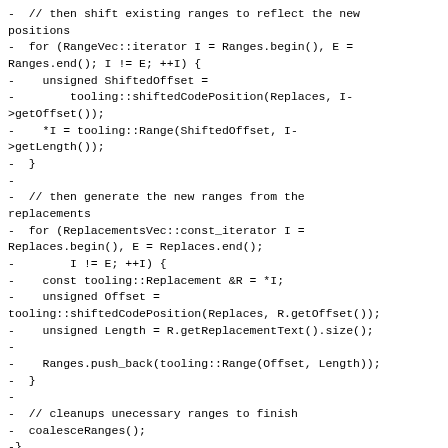-  // then shift existing ranges to reflect the new positions
-  for (RangeVec::iterator I = Ranges.begin(), E =
Ranges.end(); I != E; ++I) {
-    unsigned ShiftedOffset =
-        tooling::shiftedCodePosition(Replaces, I->getOffset());
-    *I = tooling::Range(ShiftedOffset, I->getLength());
-  }
-
-  // then generate the new ranges from the replacements
-  for (ReplacementsVec::const_iterator I =
Replaces.begin(), E = Replaces.end();
-        I != E; ++I) {
-    const tooling::Replacement &R = *I;
-    unsigned Offset =
tooling::shiftedCodePosition(Replaces, R.getOffset());
-    unsigned Length = R.getReplacementText().size();
-
-    Ranges.push_back(tooling::Range(Offset, Length));
-  }
-
-  // cleanups unecessary ranges to finish
-  coalesceRanges();
-}
-
-void ChangedRanges::coalesceRanges() {
-  // sort the ranges by offset and then for each group